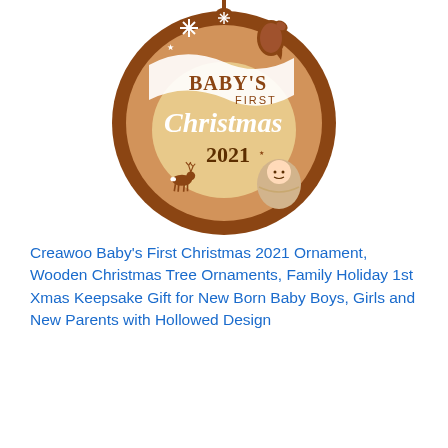[Figure (photo): A circular wooden Christmas ornament engraved with 'BABY'S FIRST Christmas 2021', featuring a reindeer, a baby, snowflakes, mittens, and a crescent moon design in brown and natural wood tones.]
Creawoo Baby's First Christmas 2021 Ornament, Wooden Christmas Tree Ornaments, Family Holiday 1st Xmas Keepsake Gift for New Born Baby Boys, Girls and New Parents with Hollowed Design
View on Amazon